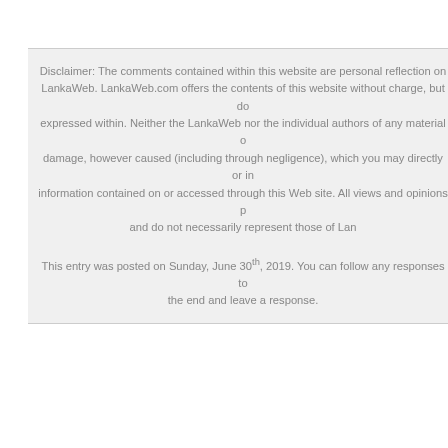Disclaimer: The comments contained within this website are personal reflection on LankaWeb. LankaWeb.com offers the contents of this website without charge, but does not endorse the views expressed within. Neither the LankaWeb nor the individual authors of any material on this Web site accept responsibility for any loss or damage, however caused (including through negligence), which you may directly or indirectly suffer arising from your use of or reliance on information contained on or accessed through this Web site. All views and opinions presented in this page are solely those of the writer and do not necessarily represent those of LankaWeb.
This entry was posted on Sunday, June 30th, 2019. You can follow any responses to this entry through the RSS 2.0 feed. Both comments and pings are currently closed. You can skip to the end and leave a response.